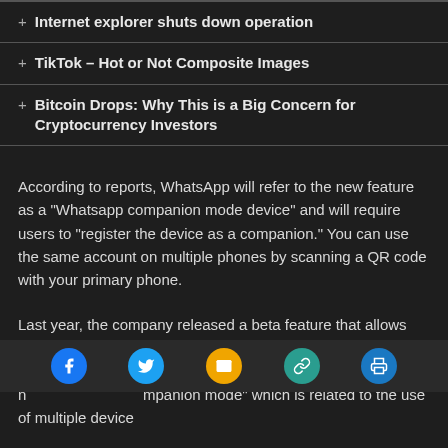+ Internet explorer shuts down operation
+ TikTok – Hot or Not Composite Images
+ Bitcoin Drops: Why This is a Big Concern for Cryptocurrency Investors
According to reports, WhatsApp will refer to the new feature as a “Whatsapp companion mode device” and will require users to “register the device as a companion.” You can use the same account on multiple phones by scanning a QR code with your primary phone.
Last year, the company released a beta feature that allows users to use WhatsApp on multiple devices without relying on their primary s… ently developing a n… mpanion mode" which is related to the use of multiple devices